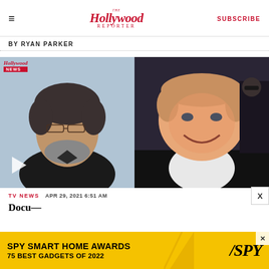The Hollywood Reporter | SUBSCRIBE
BY RYAN PARKER
[Figure (photo): Side-by-side photos: left shows a man with curly dark hair, beard and glasses wearing a dark blazer in front of a Hollywood Reporter News backdrop; right shows a heavyset smiling man in a white shirt at what appears to be an event. A video play button is overlaid on the left photo.]
TV NEWS   APR 29, 2021 6:51 AM
[Figure (photo): Advertisement banner: SPY SMART HOME AWARDS 75 BEST GADGETS OF 2022 with SPY logo on yellow background]